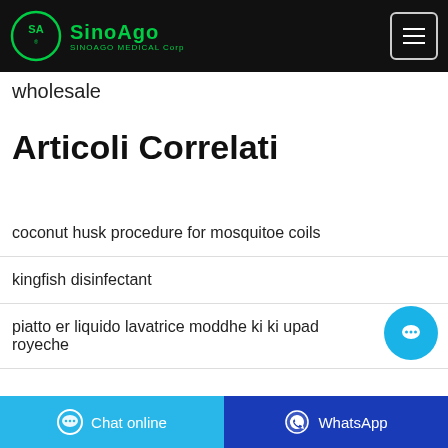SinoAgo SINOAGO MEDICAL Corp
wholesale
Articoli Correlati
coconut husk procedure for mosquitoe coils
kingfish disinfectant
piatto er liquido lavatrice moddhe ki ki upad royeche
Chat online
WhatsApp